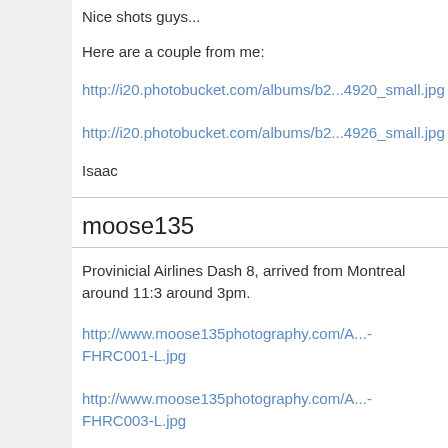Nice shots guys...
Here are a couple from me:
http://i20.photobucket.com/albums/b2...4920_small.jpg
http://i20.photobucket.com/albums/b2...4926_small.jpg
Isaac
moose135
Provinicial Airlines Dash 8, arrived from Montreal around 11:3 around 3pm.
http://www.moose135photography.com/A...-FHRC001-L.jpg
http://www.moose135photography.com/A...-FHRC003-L.jpg
http://www.moose135photography.com/A...-FHRC005-L.jpg
Gerard